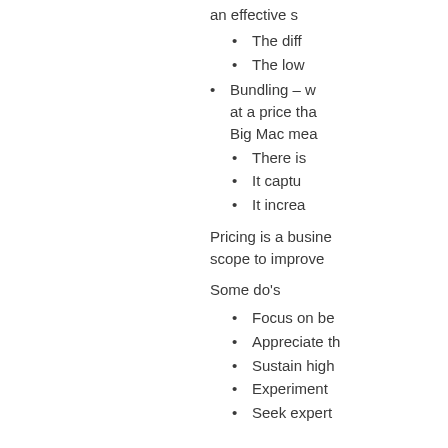an effective s
The diff
The low
Bundling – w at a price tha Big Mac mea
There is
It captu
It increa
Pricing is a busine scope to improve
Some do's
Focus on be
Appreciate th
Sustain high
Experiment
Seek expert